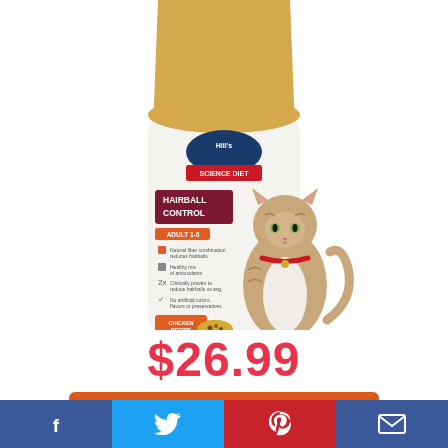[Figure (photo): Hill's Science Diet Hairball Control Adult 1-6 Chicken Recipe dry cat food bag, with a tabby cat sitting beside it. The bag is white and gold/yellow at the top with red branding.]
$26.99
Get it now on Amazon.com
[Figure (infographic): Social media sharing bar at the bottom with Facebook, Twitter, Pinterest, and Email buttons.]